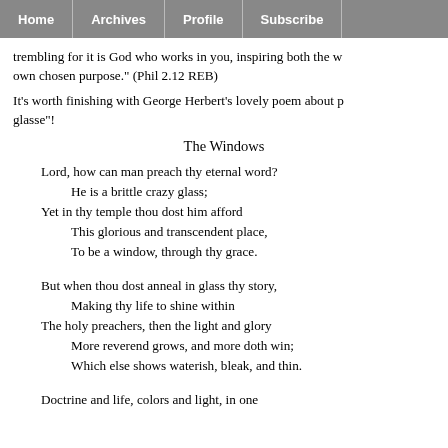Home | Archives | Profile | Subscribe
trembling for it is God who works in you, inspiring both the w own chosen purpose." (Phil 2.12 REB)
It's worth finishing with George Herbert's lovely poem about p glasse"!
The Windows
Lord, how can man preach thy eternal word?
He is a brittle crazy glass;
Yet in thy temple thou dost him afford
This glorious and transcendent place,
To be a window, through thy grace.
But when thou dost anneal in glass thy story,
Making thy life to shine within
The holy preachers, then the light and glory
More reverend grows, and more doth win;
Which else shows waterish, bleak, and thin.
Doctrine and life, colors and light, in one